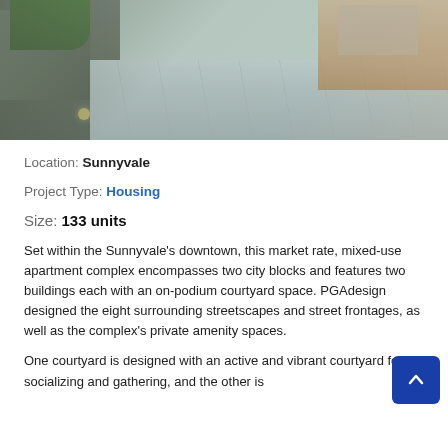[Figure (photo): Outdoor courtyard/terrace area with concrete planters with greenery on the left, light gray stone pavement tiles in the center, and wooden deck/patio furniture visible on the upper right.]
Location: Sunnyvale
Project Type: Housing
Size: 133 units
Set within the Sunnyvale's downtown, this market rate, mixed-use apartment complex encompasses two city blocks and features two buildings each with an on-podium courtyard space. PGAdesign designed the eight surrounding streetscapes and street frontages, as well as the complex's private amenity spaces.
One courtyard is designed with an active and vibrant courtyard for socializing and gathering, and the other is